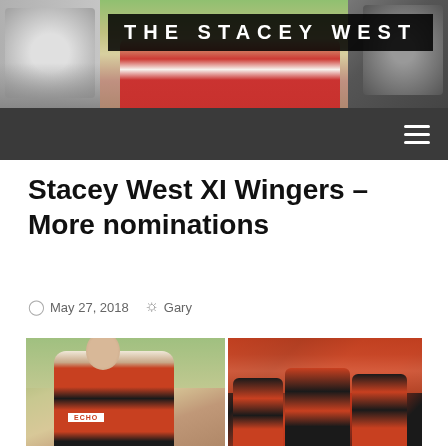[Figure (photo): THE STACEY WEST banner header with crowd and football celebration photos behind dark title box]
THE STACEY WEST
Stacey West XI Wingers – More nominations
May 27, 2018   Gary
[Figure (photo): Two football photos side by side: left shows a player in orange/black ECHO sponsored jersey; right shows players in orange/black jerseys celebrating]